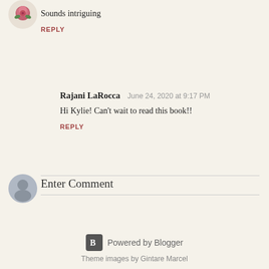[Figure (photo): Rose avatar icon at top left]
Sounds intriguing
REPLY
Rajani LaRocca  June 24, 2020 at 9:17 PM
Hi Kylie! Can't wait to read this book!!
REPLY
[Figure (illustration): Default user avatar (grey silhouette)]
Enter Comment
Powered by Blogger
Theme images by Gintare Marcel